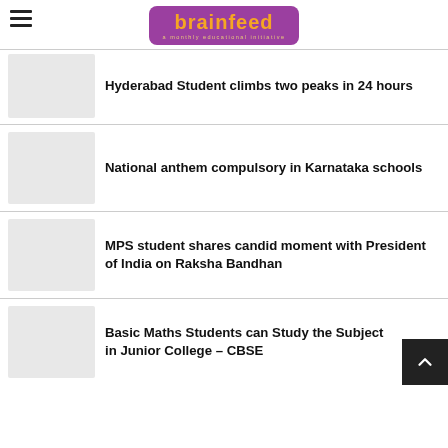brainfeed — a monthly educational initiative
Hyderabad Student climbs two peaks in 24 hours
[Figure (photo): Thumbnail image placeholder for Hyderabad student article]
National anthem compulsory in Karnataka schools
[Figure (photo): Thumbnail image placeholder for Karnataka schools article]
MPS student shares candid moment with President of India on Raksha Bandhan
[Figure (photo): Thumbnail image placeholder for MPS student article]
Basic Maths Students can Study the Subject in Junior College – CBSE
[Figure (photo): Thumbnail image placeholder for CBSE Basic Maths article]